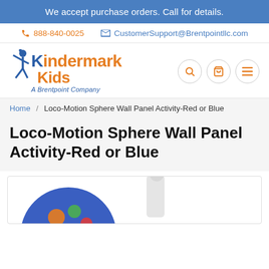We accept purchase orders. Call for details.
888-840-0025  CustomerSupport@Brentpointllc.com
[Figure (logo): Kindermark Kids logo — figure of child icon in blue, 'Kindermark' in orange/blue, 'Kids' in orange, 'A Brentpoint Company' in blue italic below]
Home / Loco-Motion Sphere Wall Panel Activity-Red or Blue
Loco-Motion Sphere Wall Panel Activity-Red or Blue
[Figure (photo): Partial product image showing a blue circular panel with colorful gear shapes and a child in background]